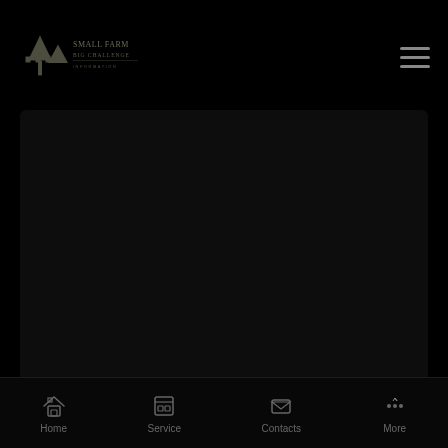[Figure (logo): Website logo with tree/castle icon and text 'Small Farm Big Challenge']
[Figure (illustration): Hamburger menu icon (three horizontal lines) in top right]
[Figure (illustration): Dark hero image area in background]
[Figure (illustration): Loading spinner arc icon]
HOME  BLOG  INFORMATION
No-Fu Choices For Sugar Momma Internet
[Figure (infographic): Bottom navigation bar with Home, Service, Contacts, More icons]
Home  Service  Contacts  More